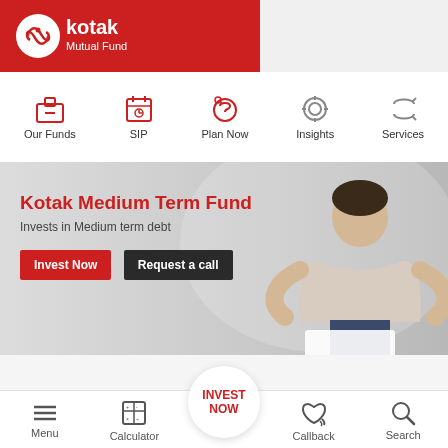[Figure (screenshot): Kotak Mutual Fund app header with red logo area on left and dark blue icons bar on right]
[Figure (infographic): Navigation bar with icons: Our Funds, SIP, Plan Now, Insights, Services]
[Figure (photo): Banner showing Kotak Medium Term Fund with a smiling man seated, invest now and request a call buttons]
[Figure (screenshot): Bottom section with Reg-G dropdown, Invest Now circular button, and bottom navigation: Menu, Calculator, Callback, Search]